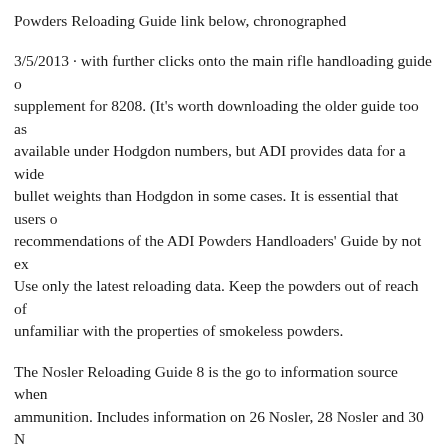Powders Reloading Guide link below, chronographed
3/5/2013 · with further clicks onto the main rifle handloading guide and supplement for 8208. (It's worth downloading the older guide too as available under Hodgdon numbers, but ADI provides data for a wide bullet weights than Hodgdon in some cases. It is essential that users of recommendations of the ADI Powders Handloaders' Guide by not ex Use only the latest reloading data. Keep the powders out of reach of unfamiliar with the properties of smokeless powders.
The Nosler Reloading Guide 8 is the go to information source when ammunition. Includes information on 26 Nosler, 28 Nosler and 30 N Guide 8 is the go to information source when handloading and reloa Powders; (See note on Powders below or read all about various Pow jacketed and .358" for lead in diameter. Due to different barrel lengt depth, primer type and other factors, you may not get near the FPS c the reason you should start under these charges and work up.
Hodgdon ®, IMR ® and Winchester ® powders neither assume nor a assume for it any liability in connection with the use of any powder...